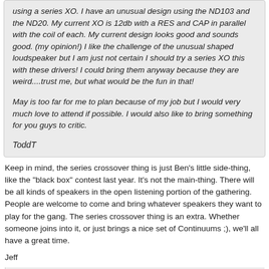using a series XO. I have an unusual design using the ND103 and the ND20. My current XO is 12db with a RES and CAP in parallel with the coil of each. My current design looks good and sounds good. (my opinion!) I like the challenge of the unusual shaped loudspeaker but I am just not certain I should try a series XO this with these drivers! I could bring them anyway because they are weird....trust me, but what would be the fun in that!
May is too far for me to plan because of my job but I would very much love to attend if possible. I would also like to bring something for you guys to critic.
ToddT
Keep in mind, the series crossover thing is just Ben's little side-thing, like the "black box" contest last year. It's not the main-thing. There will be all kinds of speakers in the open listening portion of the gathering. People are welcome to come and bring whatever speakers they want to play for the gang. The series crossover thing is an extra. Whether someone joins into it, or just brings a nice set of Continuums ;), we'll all have a great time.
Jeff
Click here for Jeff Bagby's Loudspeaker Design Software